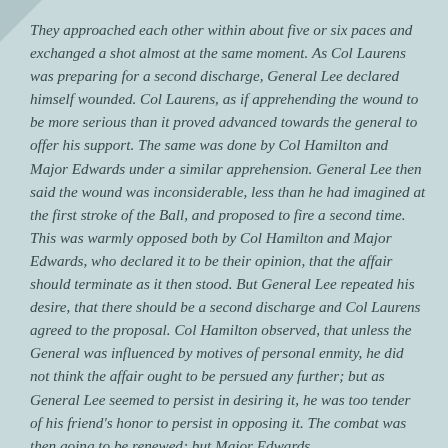They approached each other within about five or six paces and exchanged a shot almost at the same moment. As Col Laurens was preparing for a second discharge, General Lee declared himself wounded. Col Laurens, as if apprehending the wound to be more serious than it proved advanced towards the general to offer his support. The same was done by Col Hamilton and Major Edwards under a similar apprehension. General Lee then said the wound was inconsiderable, less than he had imagined at the first stroke of the Ball, and proposed to fire a second time. This was warmly opposed both by Col Hamilton and Major Edwards, who declared it to be their opinion, that the affair should terminate as it then stood. But General Lee repeated his desire, that there should be a second discharge and Col Laurens agreed to the proposal. Col Hamilton observed, that unless the General was influenced by motives of personal enmity, he did not think the affair ought to be persued any further; but as General Lee seemed to persist in desiring it, he was too tender of his friend's honor to persist in opposing it. The combat was then going to be renewed; but Major Edwards…